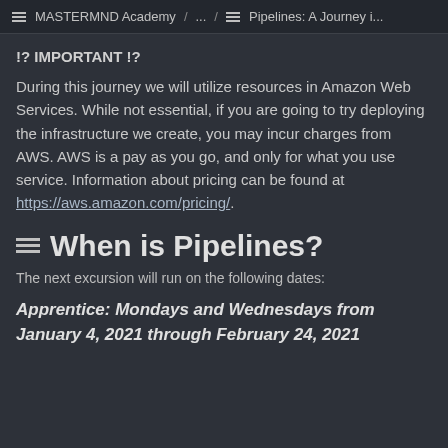MASTERMND Academy / ... / Pipelines: A Journey i...
!? IMPORTANT !?
During this journey we will utilize resources in Amazon Web Services. While not essential, if you are going to try deploying the infrastructure we create, you may incur charges from AWS. AWS is a pay as you go, and only for what you use service. Information about pricing can be found at https://aws.amazon.com/pricing/.
When is Pipelines?
The next excursion will run on the following dates:
Apprentice: Mondays and Wednesdays from January 4, 2021 through February 24, 2021